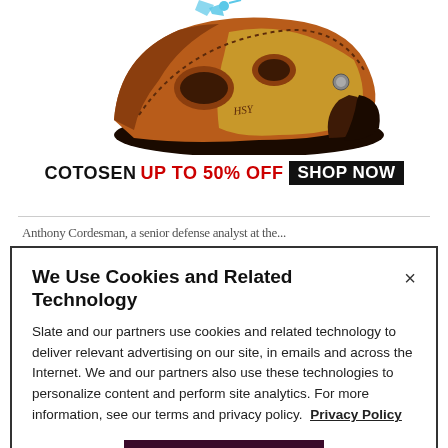[Figure (photo): Brown leather sandal/shoe product photo with HSY branding on a white background]
COTOSEN UP TO 50% OFF SHOP NOW
Anthony Cordesman, a senior defense analyst at the...
We Use Cookies and Related Technology
Slate and our partners use cookies and related technology to deliver relevant advertising on our site, in emails and across the Internet. We and our partners also use these technologies to personalize content and perform site analytics. For more information, see our terms and privacy policy.  Privacy Policy
OK